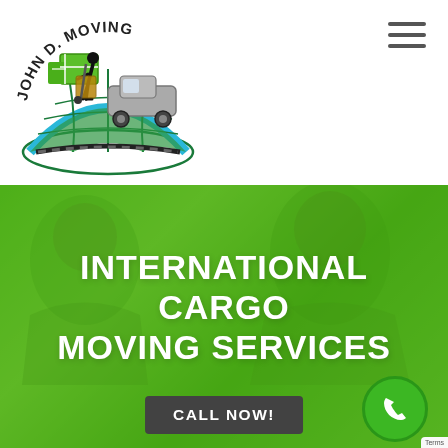[Figure (logo): John D. Moving company logo: circular globe design with blue and green arcs, silhouette of mover pushing boxes with truck, text 'JOHN D. MOVING' arching around top]
[Figure (illustration): Hamburger menu icon (three horizontal lines) in top-right corner]
[Figure (photo): Green-tinted hero background with two people (faces/silhouettes visible), overlaid with semi-transparent green color]
INTERNATIONAL CARGO MOVING SERVICES
Home / International Cargo Moving Services
[Figure (other): Dark grey 'CALL NOW!' button]
[Figure (other): Green circular phone icon button on the right side]